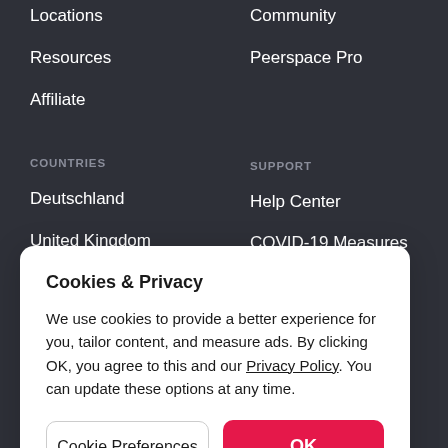Locations
Community
Resources
Peerspace Pro
Affiliate
COUNTRIES
SUPPORT
Deutschland
Help Center
United Kingdom
COVID-19 Measures
Cookies & Privacy
We use cookies to provide a better experience for you, tailor content, and measure ads. By clicking OK, you agree to this and our Privacy Policy. You can update these options at any time.
Cookie Preferences
OK